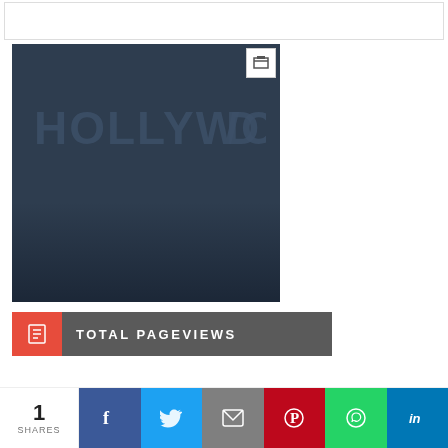[Figure (photo): Hollywood sign photograph with dark blue/grey toned overlay, showing the iconic HOLLYWOOD letters on a hillside]
TOTAL PAGEVIEWS
1 SHARES